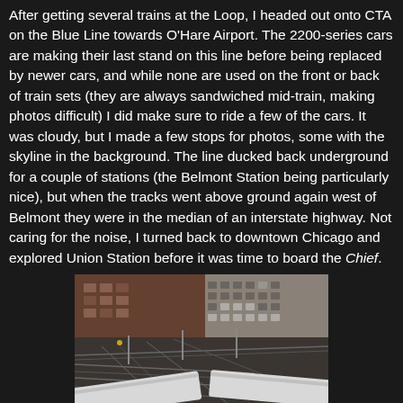After getting several trains at the Loop, I headed out onto CTA on the Blue Line towards O'Hare Airport. The 2200-series cars are making their last stand on this line before being replaced by newer cars, and while none are used on the front or back of train sets (they are always sandwiched mid-train, making photos difficult) I did make sure to ride a few of the cars. It was cloudy, but I made a few stops for photos, some with the skyline in the background. The line ducked back underground for a couple of stations (the Belmont Station being particularly nice), but when the tracks went above ground again west of Belmont they were in the median of an interstate highway. Not caring for the noise, I turned back to downtown Chicago and explored Union Station before it was time to board the Chief.
[Figure (photo): Aerial/overhead view of Chicago elevated train tracks at the Loop junction, showing multiple CTA train cars and a large multi-story brick/stone building in the background. The tracks curve and diverge in multiple directions.]